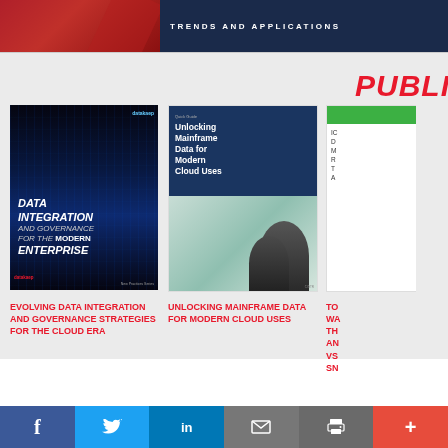[Figure (illustration): Top banner with red gradient left side and dark navy right side with text TRENDS AND APPLICATIONS]
PUBLI...
[Figure (illustration): Book cover: Data Integration and Governance for the Modern Enterprise - dark blue matrix background with white bold title text]
EVOLVING DATA INTEGRATION AND GOVERNANCE STRATEGIES FOR THE CLOUD ERA
[Figure (illustration): White paper cover: Unlocking Mainframe Data for Modern Cloud Uses - dark blue top half with title text and photo of people bottom half]
UNLOCKING MAINFRAME DATA FOR MODERN CLOUD USES
[Figure (illustration): Partially visible third publication cover with green top bar]
TO... WA... TH... AN... VS... SN...
[Figure (infographic): Social media sharing bar with Facebook, Twitter, LinkedIn, Email, Print, and More buttons]